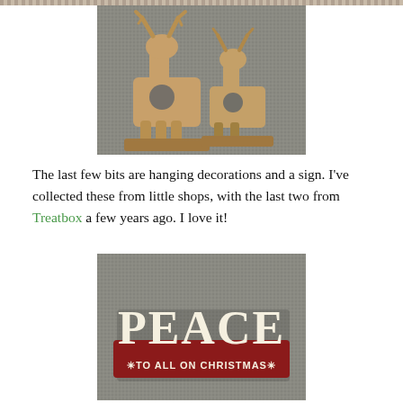[Figure (photo): Two wooden laser-cut reindeer decorations sitting on a grey textured fabric surface]
The last few bits are hanging decorations and a sign. I've collected these from little shops, with the last two from Treatbox a few years ago. I love it!
[Figure (photo): A wooden decorative sign reading PEACE TO ALL ON CHRISTMAS* with cream lettering on a red base, sitting on grey fabric]